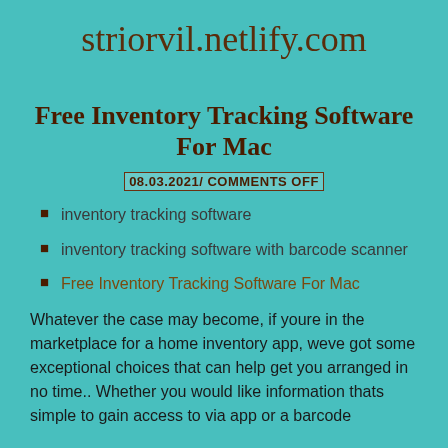striorvil.netlify.com
Free Inventory Tracking Software For Mac
08.03.2021/ COMMENTS OFF
inventory tracking software
inventory tracking software with barcode scanner
Free Inventory Tracking Software For Mac
Whatever the case may become, if youre in the marketplace for a home inventory app, weve got some exceptional choices that can help get you arranged in no time.. Whether you would like information thats simple to gain access to via app or a barcode